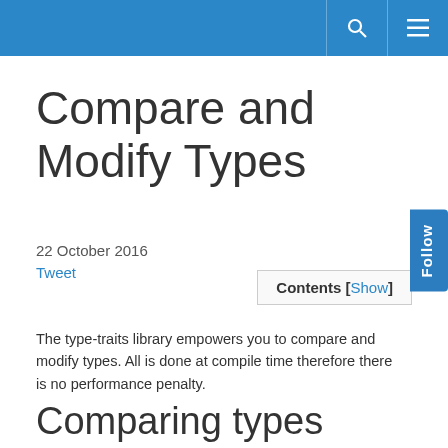Compare and Modify Types
22 October 2016
Tweet
Contents [Show]
The type-traits library empowers you to compare and modify types. All is done at compile time therefore there is no performance penalty.
Comparing types